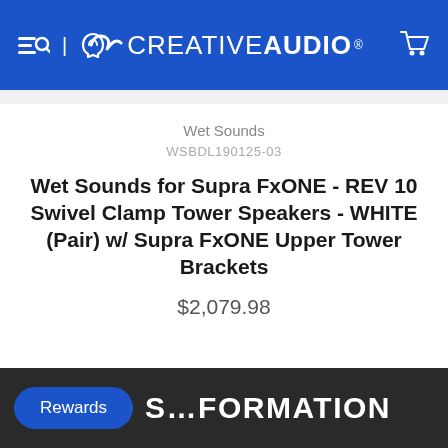Creative Audio — navigation header with search, phone, cart icons
Wet Sounds
WSBDL190125-03
Wet Sounds for Supra FxONE - REV 10 Swivel Clamp Tower Speakers - WHITE (Pair) w/ Supra FxONE Upper Tower Brackets
$2,079.98
S...FORMATION